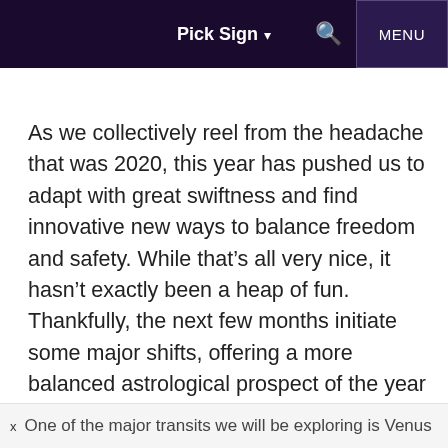Pick Sign ▾  🔍  MENU
As we collectively reel from the headache that was 2020, this year has pushed us to adapt with great swiftness and find innovative new ways to balance freedom and safety. While that's all very nice, it hasn't exactly been a heap of fun. Thankfully, the next few months initiate some major shifts, offering a more balanced astrological prospect of the year ahead.
One of the major transits we will be exploring is Venus